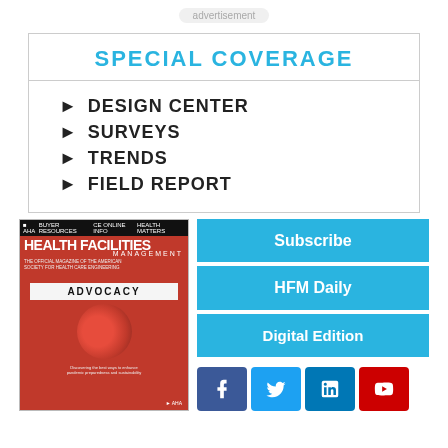advertisement
SPECIAL COVERAGE
DESIGN CENTER
SURVEYS
TRENDS
FIELD REPORT
[Figure (illustration): Cover of Health Facilities Management magazine featuring ADVOCACY issue with red background]
Subscribe
HFM Daily
Digital Edition
[Figure (logo): Social media icons: Facebook, Twitter, LinkedIn, YouTube]